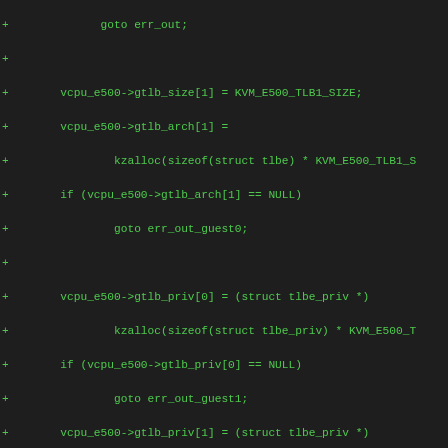[Figure (screenshot): Code diff snippet showing C source code additions (lines starting with +) for KVM e500 TLB initialization. Green text on dark background in monospace font. Code includes gtlb_size, gtlb_arch, gtlb_priv array assignments with kzalloc calls, NULL checks with goto error labels, kvmppc_e500_id_table_alloc call, and TLB configuration register initialization using mfspr.]